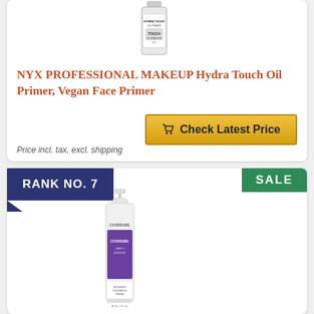[Figure (photo): NYX Hydra Touch Oil Primer bottle product image]
NYX PROFESSIONAL MAKEUP Hydra Touch Oil Primer, Vegan Face Primer
Check Latest Price
Price incl. tax, excl. shipping
SALE
RANK NO. 7
[Figure (photo): CoverGirl Simply Ageless Anti-Aging Foundation Primer bottle product image]